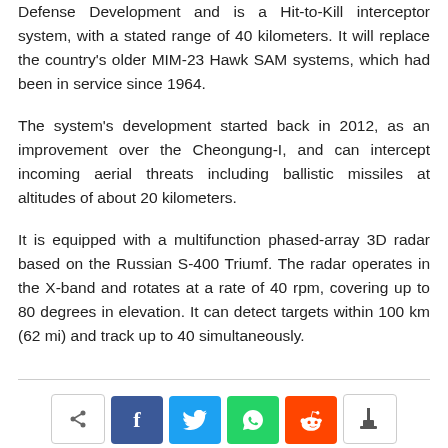Defense Development and is a Hit-to-Kill interceptor system, with a stated range of 40 kilometers. It will replace the country's older MIM-23 Hawk SAM systems, which had been in service since 1964.
The system's development started back in 2012, as an improvement over the Cheongung-I, and can intercept incoming aerial threats including ballistic missiles at altitudes of about 20 kilometers.
It is equipped with a multifunction phased-array 3D radar based on the Russian S-400 Triumf. The radar operates in the X-band and rotates at a rate of 40 rpm, covering up to 80 degrees in elevation. It can detect targets within 100 km (62 mi) and track up to 40 simultaneously.
[Figure (other): Social media share buttons bar: anonymous share button (white), Facebook (blue), Twitter (light blue), WhatsApp (green), Reddit (orange-red), another button (white/grey)]